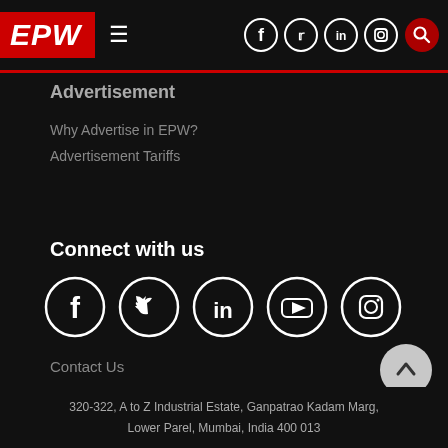[Figure (logo): EPW navigation bar with EPW logo in red, hamburger menu, and social media icons (Facebook, Twitter, LinkedIn, Instagram, Search) on dark background with red separator line]
Advertisement
Why Advertise in EPW?
Advertisement Tariffs
Connect with us
[Figure (illustration): Five circular social media icons: Facebook, Twitter, LinkedIn, YouTube, Instagram — white icons on black circles with white ring borders]
Contact Us
320-322, A to Z Industrial Estate, Ganpatrao Kadam Marg, Lower Parel, Mumbai, India 400 013